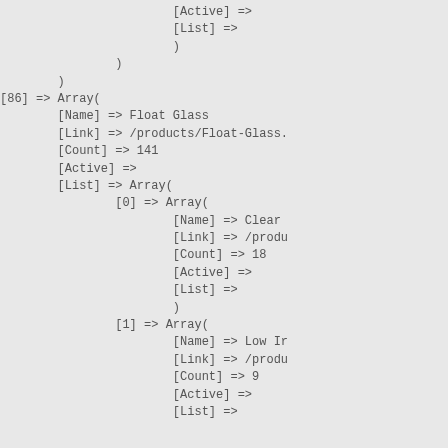[Active] =>
    [List] =>
    )
        )
    )
[86] => Array(
        [Name] => Float Glass
        [Link] => /products/Float-Glass.
        [Count] => 141
        [Active] =>
        [List] => Array(
                [0] => Array(
                        [Name] => Clear
                        [Link] => /produ
                        [Count] => 18
                        [Active] =>
                        [List] =>
                        )
                [1] => Array(
                        [Name] => Low Ir
                        [Link] => /produ
                        [Count] => 9
                        [Active] =>
                        [List] =>